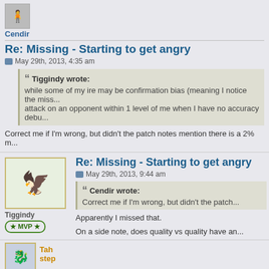Cendir
Re: Missing - Starting to get angry
May 29th, 2013, 4:35 am
Tiggindy wrote: while some of my ire may be confirmation bias (meaning I notice the miss... attack on an opponent within 1 level of me when I have no accuracy debu...
Correct me if I'm wrong, but didn't the patch notes mention there is a 2% m...
Tiggindy
★ MVP ★
Re: Missing - Starting to get angry
May 29th, 2013, 9:44 am
Cendir wrote: Correct me if I'm wrong, but didn't the patch...
Apparently I missed that.
On a side note, does quality vs quality have an...
Tah
step